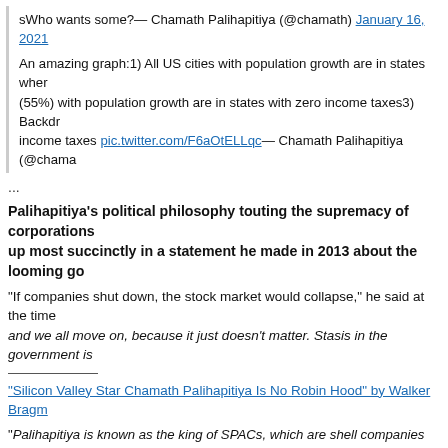sWho wants some?— Chamath Palihapitiya (@chamath) January 16, 2021
An amazing graph:1) All US cities with population growth are in states where... (55%) with population growth are in states with zero income taxes3) Backdr... income taxes pic.twitter.com/F6aOtELLqc— Chamath Palihapitiya (@chama...
...
Palihapitiya's political philosophy touting the supremacy of corporations... up most succinctly in a statement he made in 2013 about the looming go...
"If companies shut down, the stock market would collapse," he said at the time... and we all move on, because it just doesn't matter. Stasis in the government is...
"Silicon Valley Star Chamath Palihapitiya Is No Robin Hood" by Walker Bragm...
"Palihapitiya is known as the king of SPACs, which are shell companies used as... cheaper and faster alternative to the initial public offering (IPO) route but come w... since the companies are formed without specific targets in mind. In the 1980s, th... hotbeds for fraud, though the rules surrounding them have been tightened since.
The king of SPACs wants to become governor of California. He's talking a populi... who at best presents a 'Third Way'-style center-Right collection of policy prescrip... ment' and advocating a government shut down. Even his proposals for California...